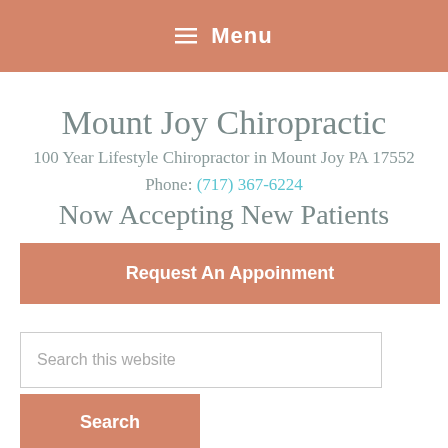≡ Menu
Mount Joy Chiropractic
100 Year Lifestyle Chiropractor in Mount Joy PA 17552
Phone: (717) 367-6224
Now Accepting New Patients
Request An Appoinment
Search this website
Search